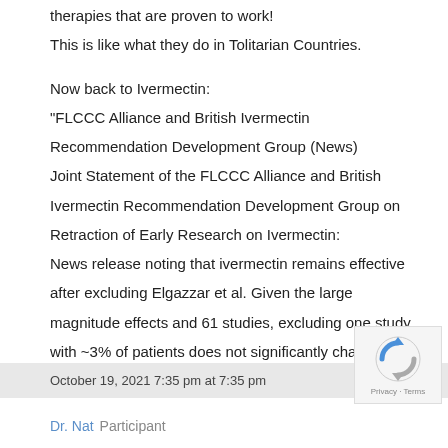therapies that are proven to work!
This is like what they do in Tolitarian Countries.
Now back to Ivermectin:
"FLCCC Alliance and British Ivermectin Recommendation Development Group (News) Joint Statement of the FLCCC Alliance and British Ivermectin Recommendation Development Group on Retraction of Early Research on Ivermectin: News release noting that ivermectin remains effective after excluding Elgazzar et al. Given the large magnitude effects and 61 studies, excluding one study with ~3% of patients does not significantly change the evidence base."
October 19, 2021 7:35 pm at 7:35 pm
Dr. Nat  Participant